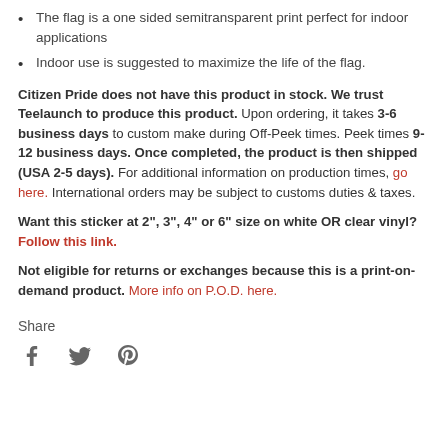The flag is a one sided semitransparent print perfect for indoor applications
Indoor use is suggested to maximize the life of the flag.
Citizen Pride does not have this product in stock. We trust Teelaunch to produce this product. Upon ordering, it takes 3-6 business days to custom make during Off-Peek times. Peek times 9-12 business days. Once completed, the product is then shipped (USA 2-5 days). For additional information on production times, go here. International orders may be subject to customs duties & taxes.
Want this sticker at 2", 3", 4" or 6" size on white OR clear vinyl? Follow this link.
Not eligible for returns or exchanges because this is a print-on-demand product. More info on P.O.D. here.
Share
[Figure (other): Social share icons: Facebook, Twitter, Pinterest]